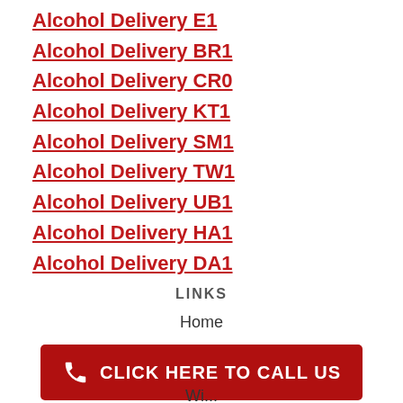Alcohol Delivery E1
Alcohol Delivery BR1
Alcohol Delivery CR0
Alcohol Delivery KT1
Alcohol Delivery SM1
Alcohol Delivery TW1
Alcohol Delivery UB1
Alcohol Delivery HA1
Alcohol Delivery DA1
LINKS
Home
[Figure (other): Red call-to-action button with phone icon and text CLICK HERE TO CALL US]
Wi...